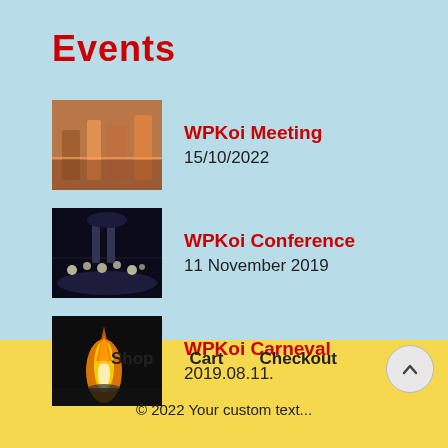Events
WPKoi Meeting
15/10/2022
WPKoi Conference
11 November 2019
WPKoi Carneval
2019.08.11.
Shop   Cart   Checkout
© 2022 Your custom text...